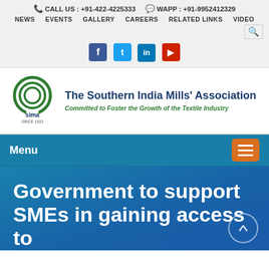CALL US : +91-422-4225333   WAPP : +91-9952412329
NEWS   EVENTS   GALLERY   CAREERS   RELATED LINKS   VIDEO
[Figure (logo): SIMA logo - circular green emblem with 'sima SINCE 1933' text]
The Southern India Mills' Association
Committed to Foster the Growth of the Textile Industry
Menu
Government to support SMEs in gaining access to